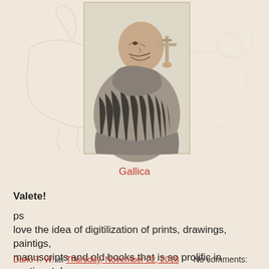[Figure (illustration): A pencil or charcoal sketch/engraving of a heavyset figure wearing a fur cloak, shown from the side/back, holding what appears to be a cross or scepter. A faint outline of a horse or animal appears in the background.]
Gallica
Valete!
ps
love the idea of digitilization of prints, drawings, paintigs, manuscripts and old books that is so prolific in continental Europe. Time travel with no end - :)
Dario T. W. at Thursday, November 22, 2018    No comments: